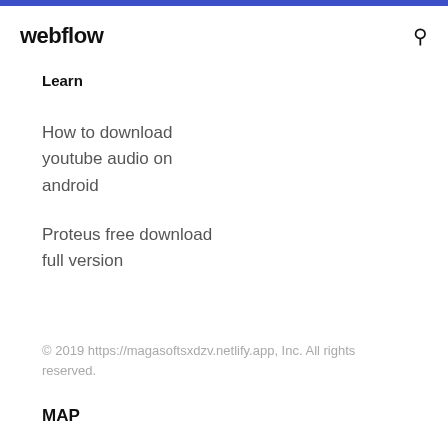webflow
Learn
How to download youtube audio on android
Proteus free download full version
© 2019 https://magasoftsxdzv.netlify.app, Inc. All rights reserved.
MAP